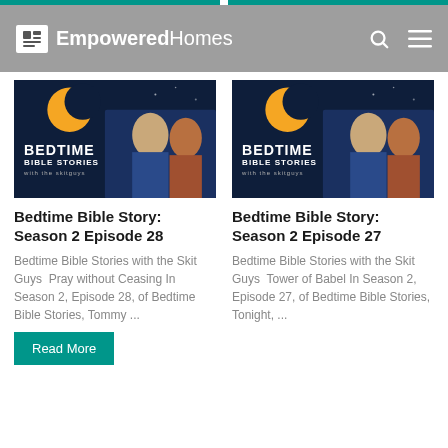EmpoweredHomes
[Figure (screenshot): Bedtime Bible Stories with the Skit Guys thumbnail - dark blue background with crescent moon and two men]
Bedtime Bible Story: Season 2 Episode 28
Bedtime Bible Stories with the Skit Guys  Pray without Ceasing  In Season 2, Episode 28, of Bedtime Bible Stories, Tommy ...
[Figure (screenshot): Bedtime Bible Stories with the Skit Guys thumbnail - dark blue background with crescent moon and two men]
Bedtime Bible Story: Season 2 Episode 27
Bedtime Bible Stories with the Skit Guys  Tower of Babel  In Season 2, Episode 27, of Bedtime Bible Stories, Tonight, ...